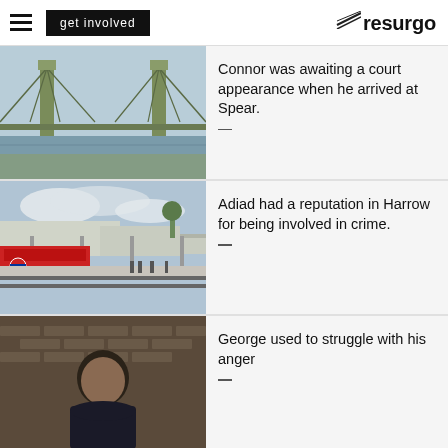get involved | resurgo
[Figure (photo): Photo of Hammersmith Bridge, a suspension bridge over the Thames in London, with green tower structures and suspension cables.]
Connor was awaiting a court appearance when he arrived at Spear.
[Figure (photo): Photo of a London Underground train station platform, likely Harrow on the Hill, with a train, platform canopy, and railway tracks.]
Adiad had a reputation in Harrow for being involved in crime.
[Figure (photo): Photo of a young man in a dark polo shirt sitting against a brick wall, looking at the camera.]
George used to struggle with his anger